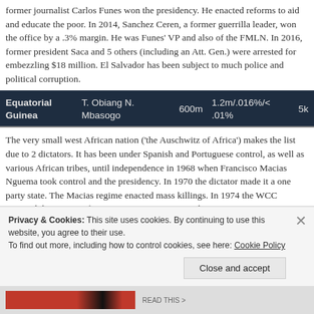former journalist Carlos Funes won the presidency.  He enacted reforms to aid and educate the poor.  In 2014, Sanchez Ceren, a former guerrilla leader, won the office by a .3% margin.  He was Funes' VP and also of the FMLN.  In 2016, former president Saca and 5 others (including an Att. Gen.) were arrested for embezzling $18 million.  El Salvador has been subject to much police and political corruption.
| Country | Leader | Pop. | Stats |  |
| --- | --- | --- | --- | --- |
| Equatorial Guinea | T. Obiang N. Mbasogo | 600m | 1.2m/.016%/<.01% | 5k |
The very small west African nation ('the Auschwitz of Africa') makes the list due to 2 dictators.  It has been under Spanish and Portuguese control, as well as various African tribes, until independence in 1968 when Francisco Macias Nguema took control and the presidency.  In 1970 the dictator made it a one party state.   The Macias regime enacted mass killings.  In 1974 the WCC reported their 'reign of terror.'  In 1975, 150 accused of
Privacy & Cookies: This site uses cookies. By continuing to use this website, you agree to their use.
To find out more, including how to control cookies, see here: Cookie Policy